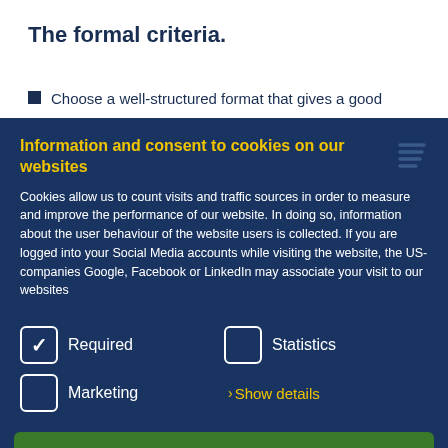The formal criteria.
Choose a well-structured format that gives a good
Information and consent to cookies on our websites
Cookies allow us to count visits and traffic sources in order to measure and improve the performance of our website. In doing so, information about the user behaviour of the website users is collected. If you are logged into your Social Media accounts while visiting the website, the US-companies Google, Facebook or LinkedIn may associate your visit to our websites
Required | Statistics | Marketing | >Show details
Only allow selected cookies
Allow all cookies (incl. US providers)